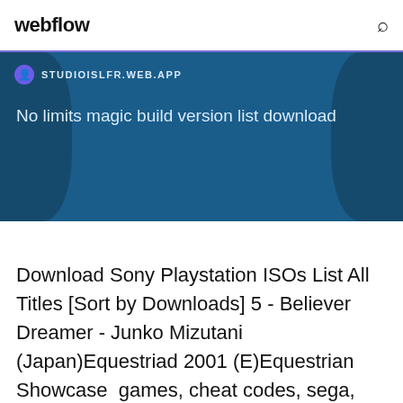webflow
[Figure (screenshot): Blue banner with globe illustration. Shows URL STUDIOISLFR.WEB.APP with a favicon icon, and text 'No limits magic build version list download']
Download Sony Playstation ISOs List All Titles [Sort by Downloads] 5 - Believer Dreamer - Junko Mizutani (Japan)Equestriad 2001 (E)Equestrian Showcase  games, cheat codes, sega, sony, nintendo, psx, ps2, faq, hints, walkthroughs.